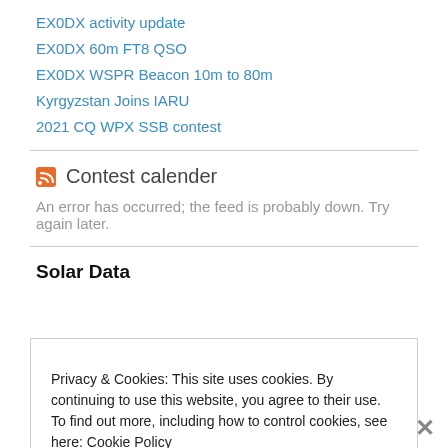EX0DX activity update
EX0DX 60m FT8 QSO
EX0DX WSPR Beacon 10m to 80m
Kyrgyzstan Joins IARU
2021 CQ WPX SSB contest
Contest calender
An error has occurred; the feed is probably down. Try again later.
Solar Data
Privacy & Cookies: This site uses cookies. By continuing to use this website, you agree to their use.
To find out more, including how to control cookies, see here: Cookie Policy